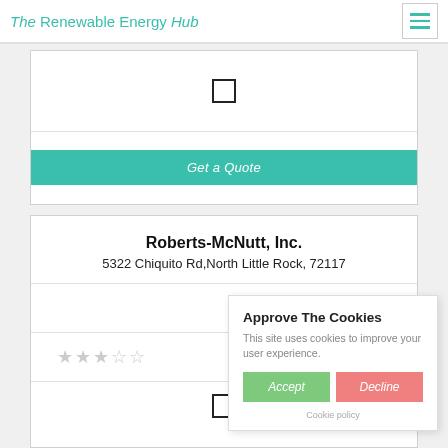The Renewable Energy Hub
[Figure (screenshot): Checkbox input field, unchecked]
Get a Quote
Roberts-McNutt, Inc.
5322 Chiquito Rd,North Little Rock, 72117
114.35
[Figure (other): Star rating display, approximately 2 out of 5 stars]
[Figure (screenshot): Checkbox input field, unchecked]
Approve The Cookies
This site uses cookies to improve your user experience.
Accept  Decline
Cookie policy